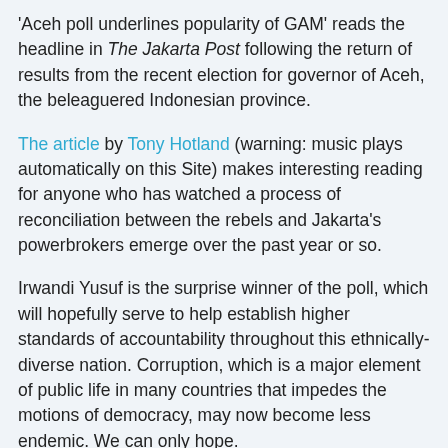'Aceh poll underlines popularity of GAM' reads the headline in The Jakarta Post following the return of results from the recent election for governor of Aceh, the beleaguered Indonesian province.
The article by Tony Hotland (warning: music plays automatically on this Site) makes interesting reading for anyone who has watched a process of reconciliation between the rebels and Jakarta's powerbrokers emerge over the past year or so.
Irwandi Yusuf is the surprise winner of the poll, which will hopefully serve to help establish higher standards of accountability throughout this ethnically-diverse nation. Corruption, which is a major element of public life in many countries that impedes the motions of democracy, may now become less endemic. We can only hope.
But you only have to read the work of Pramoedya Ananta Toer to understand the challenges facing Indonesian society. I generally refrain from laying blame at the door of colonialism, but in this case there are grounds for imagining